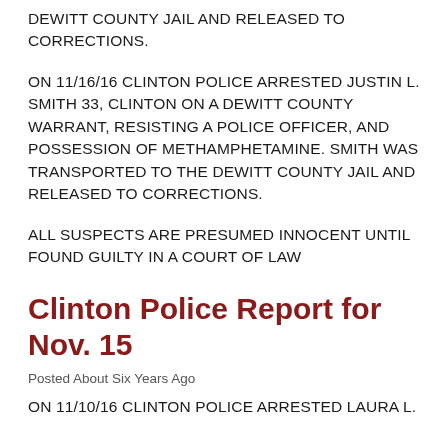DEWITT COUNTY JAIL AND RELEASED TO CORRECTIONS.
ON 11/16/16 CLINTON POLICE ARRESTED JUSTIN L. SMITH 33, CLINTON ON A DEWITT COUNTY WARRANT, RESISTING A POLICE OFFICER, AND POSSESSION OF METHAMPHETAMINE. SMITH WAS TRANSPORTED TO THE DEWITT COUNTY JAIL AND RELEASED TO CORRECTIONS.
ALL SUSPECTS ARE PRESUMED INNOCENT UNTIL FOUND GUILTY IN A COURT OF LAW
Clinton Police Report for Nov. 15
Posted About Six Years Ago
ON 11/10/16 CLINTON POLICE ARRESTED LAURA L.